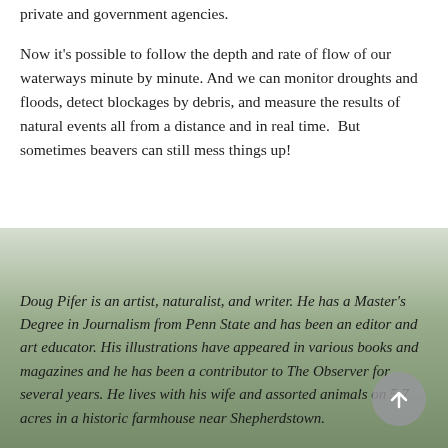private and government agencies.
Now it's possible to follow the depth and rate of flow of our waterways minute by minute. And we can monitor droughts and floods, detect blockages by debris, and measure the results of natural events all from a distance and in real time.  But sometimes beavers can still mess things up!
Doug Pifer is an artist, naturalist, and writer. He has a Master's Degree in Journalism from Penn State and has been an editor and art educator. His illustrations have appeared in various books and magazines and he has been a contributor to The Observer for several years. He lives with his wife and assorted animals on 5.7 acres in a historic farmhouse near Shepherdstown.